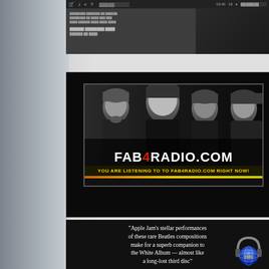[Figure (screenshot): Screenshot of a media player or website interface with toolbar icons, text content area, and a badge showing 'LITE 3']
[Figure (photo): FAB4RADIO.COM banner with black-and-white photo of four Beatles members and the website logo text. Yellow text reads: YOU ARE LISTENING TO TO FAB4RADIO.COM RIGHT NOW!]
“Apple Jam’s stellar performances of these rare Beatles compositions make for a superb companion to the White Album — almost like a long-lost third disc”